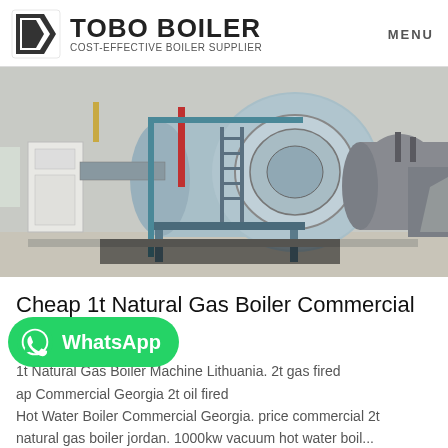TOBO BOILER — COST-EFFECTIVE BOILER SUPPLIER | MENU
[Figure (photo): Industrial boiler room with large cylindrical gas boilers, blue-grey in color, mounted on metal frames inside a factory building]
Cheap 1t Natural Gas Boiler Commercial Lithuania
1t Natural Gas Boiler Machine Lithuania. 2t gas fired ap Commercial Georgia 2t oil fired Hot Water Boiler Commercial Georgia. price commercial 2t natural gas boiler jordan. 1000kw vacuum hot water boil...